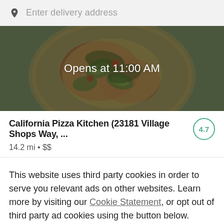Enter delivery address
[Figure (photo): Restaurant hero image showing a pizza with avocado and greens toppings, overlaid with dark tint and centered text 'Opens at 11:00 AM']
California Pizza Kitchen (23181 Village Shops Way, ...
14.2 mi • $$
This website uses third party cookies in order to serve you relevant ads on other websites. Learn more by visiting our Cookie Statement, or opt out of third party ad cookies using the button below.
OPT OUT
GOT IT